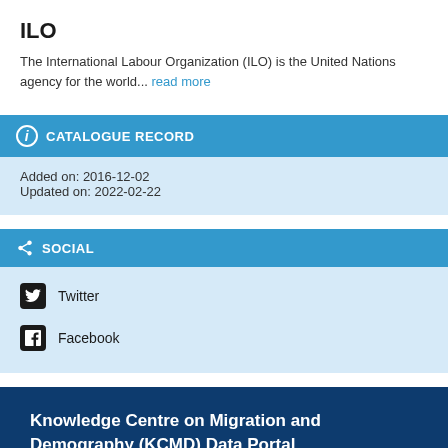ILO
The International Labour Organization (ILO) is the United Nations agency for the world... read more
CATALOGUE RECORD
Added on: 2016-12-02
Updated on: 2022-02-22
SOCIAL
Twitter
Facebook
Knowledge Centre on Migration and Demography (KCMD) Data Portal
This site is managed by the Joint Research Centre